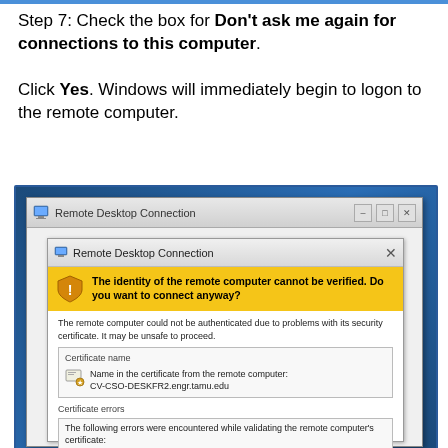Step 7: Check the box for Don't ask me again for connections to this computer. Click Yes. Windows will immediately begin to logon to the remote computer.
[Figure (screenshot): A Windows Remote Desktop Connection dialog box showing a security warning. The warning states 'The identity of the remote computer cannot be verified. Do you want to connect anyway?' with certificate name CV-CSO-DESKFR2.engr.tamu.edu and certificate errors section visible.]